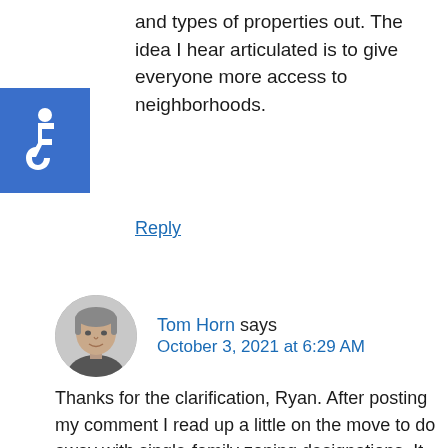and types of properties out. The idea I hear articulated is to give everyone more access to neighborhoods.
Reply
[Figure (photo): Circular avatar photo of Tom Horn, a middle-aged man in black and white]
Tom Horn says October 3, 2021 at 6:29 AM
Thanks for the clarification, Ryan. After posting my comment I read up a little on the move to do away with single-family zoning designations. It will be interesting to see how all of this unfolds. If it is being done to allow more underserved participants in the market to get into the housing market I'm not